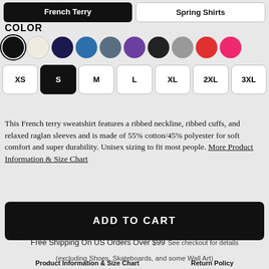[Figure (screenshot): Two product category buttons at top: a black filled button (French Terry) and an outlined button (Spring Shirts)]
COLOR
[Figure (infographic): Color swatches: black (selected), cream, dark navy, royal blue, steel gray, purple, black, gray, red, hot pink]
[Figure (infographic): Size selector buttons: XS, S (selected/black), M, L, XL, 2XL, 3XL]
This French terry sweatshirt features a ribbed neckline, ribbed cuffs, and relaxed raglan sleeves and is made of 55% cotton/45% polyester for soft comfort and super durability. Unisex sizing to fit most people. More Product Information & Size Chart
ADD TO CART
Free Shipping On US Orders Over $99 See checkout for details (excluding Shoes, Skateboards, and some Wall Art)
Product Information & Size Chart    Return Policy